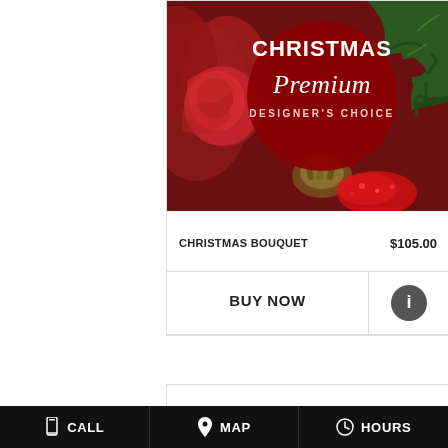[Figure (photo): Christmas floral bouquet product image with red flowers, pine, Christmas ornaments, and a dark red circular badge overlay reading 'CHRISTMAS Premium DESIGNER'S CHOICE']
CHRISTMAS BOUQUET    $105.00
BUY NOW
[Figure (other): Information icon (circle with 'i')]
CALL   MAP   HOURS